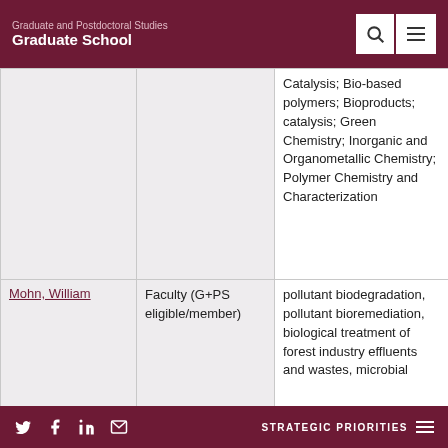Graduate and Postdoctoral Studies Graduate School
| Name | Role | Research Areas |
| --- | --- | --- |
|  |  | Catalysis; Bio-based polymers; Bioproducts; catalysis; Green Chemistry; Inorganic and Organometallic Chemistry; Polymer Chemistry and Characterization |
| Mohn, William | Faculty (G+PS eligible/member) | pollutant biodegradation, pollutant bioremediation, biological treatment of forest industry effluents and wastes, microbial |
STRATEGIC PRIORITIES